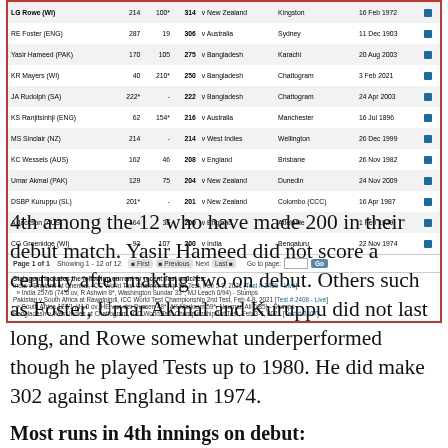| Player | 1st Inns | 2nd Inns | Total | Opponent | Venue | Date |
| --- | --- | --- | --- | --- | --- | --- |
| LG Rowe (WI) | 214 | 100* | 314 | v New Zealand | Kingston | 16 Feb 1972 |
| RE Foster (ENG) | 287 | 19 | 306 | v Australia | Sydney | 11 Dec 1903 |
| Yasir Hameed (PAK) | 170 | 105 | 275 | v Bangladesh | Karachi | 20 Aug 2003 |
| KR Mayers (WI) | 40 | 210* | 250 | v Bangladesh | Chattogram | 3 Feb 2021 |
| JA Rudolph (SA) | 222* | - | 222 | v Bangladesh | Chattogram | 24 Apr 2003 |
| KS Ranjitsinhji (ENG) | 62 | 154* | 216 | v Australia | Manchester | 16 Jul 1896 |
| MS Sinclair (NZ) | 214 | - | 214 | v West Indies | Wellington | 26 Dec 1999 |
| KC Wessels (AUS) | 162 | 46 | 208 | v England | Brisbane | 26 Nov 1982 |
| Umar Akmal (PAK) | 129 | 75 | 204 | v New Zealand | Dunedin | 24 Nov 2009 |
| DSBP Kuruppu (SL) | 201* | - | 201 | v New Zealand | Colombo (CCC) | 16 Apr 1987 |
| A Jackson (AUS) | 164 | 36 | 200 | v England | Adelaide | 1 Feb 1929 |
| CG Greenidge (WI) | 93 | 107 | 200 | v India | Bengaluru | 22 Nov 1974 |
Page 1 of 1  Showing 1 - 12 of 12  First Previous Next Last  Go to page:  Go
Statsguru includes the following current or recent Test matches: India v England at Chennai, ICC World Test Championship 1st Test, Feb 5-9, 2021 [Test # 2409 - Live] » India 257/6 (74.0 ov, R Ashwin 8*, Washington Sundar 33*, MJ Leach 0/94) - Stumps Pakistan v South Africa at Rawalpindi, ICC World Test Championship 2nd Test, Feb 4-8, 2021 [Test # 2408 - Live] » South Africa 127/1 (41.0 ov, HE van der Dussen 48*, AK Markram 59*, Nauman Ali 0/35) - Stumps Bangladesh v West Indies at Chattogram, ICC World Test Championship 1st Test, Feb 3-7, 2021 [Test # 2407]
4th among the 12 who have made 200 in their debut match. Yasir Hameed did not score a century after making two on debut. Others such as Foster, Umar Akmal and Kuruppu did not last long, and Rowe somewhat underperformed though he played Tests up to 1980. He did make 302 against England in 1974.
Most runs in 4th innings on debut: